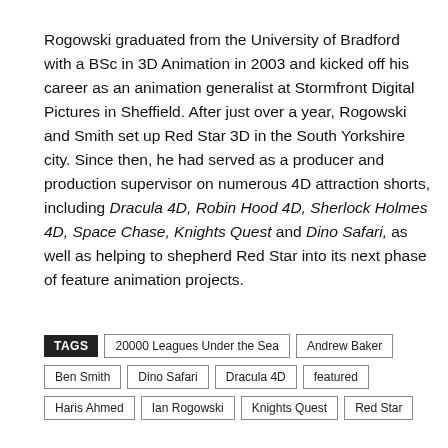Rogowski graduated from the University of Bradford with a BSc in 3D Animation in 2003 and kicked off his career as an animation generalist at Stormfront Digital Pictures in Sheffield. After just over a year, Rogowski and Smith set up Red Star 3D in the South Yorkshire city. Since then, he had served as a producer and production supervisor on numerous 4D attraction shorts, including Dracula 4D, Robin Hood 4D, Sherlock Holmes 4D, Space Chase, Knights Quest and Dino Safari, as well as helping to shepherd Red Star into its next phase of feature animation projects.
TAGS: 20000 Leagues Under the Sea | Andrew Baker | Ben Smith | Dino Safari | Dracula 4D | featured | Haris Ahmed | Ian Rogowski | Knights Quest | Red Star